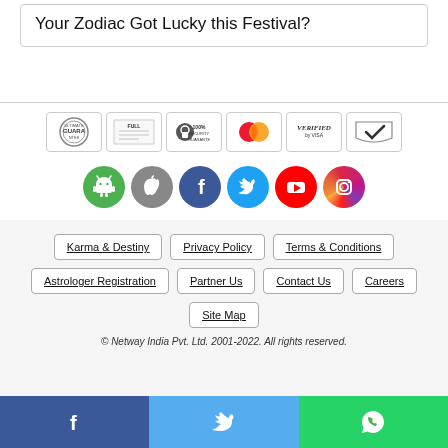Your Zodiac Got Lucky this Festival?
[Figure (other): Row of 6 trust/security badge icons: Guarantee seal, full certificate, 100% Security Guarantee lock, Mastercard, Verified by Visa, Verified Trusted checkmark]
[Figure (other): Row of 6 social media icons: Android, Apple, Facebook, Twitter, YouTube, Instagram]
Karma & Destiny
Privacy Policy
Terms & Conditions
Astrologer Registration
Partner Us
Contact Us
Careers
Site Map
© Netway India Pvt. Ltd. 2001-2022. All rights reserved.
[Figure (other): Bottom share bar with Facebook, Twitter, and WhatsApp buttons]